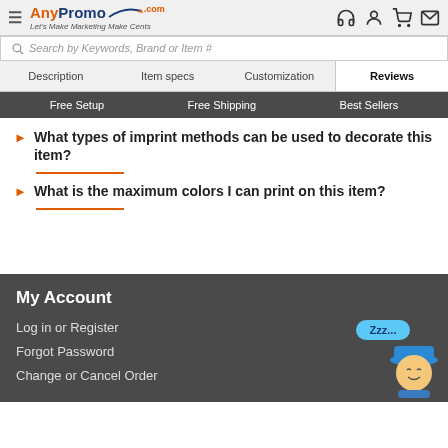AnyPromo.com — Let's Make Marketing Make Cents
Search by Keywords, Brand or Item #
Description | Item specs | Customization | Reviews
Free Setup | Free Shipping | Best Sellers
What types of imprint methods can be used to decorate this item?
What is the maximum colors I can print on this item?
My Account
Log in or Register
Forgot Password
Change or Cancel Order